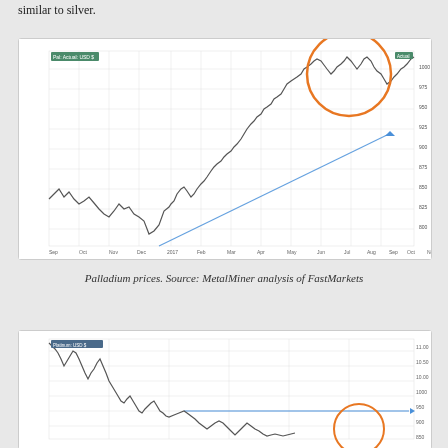similar to silver.
[Figure (continuous-plot): Palladium price line chart from Sep 2016 to Nov 2017, showing a strong uptrend with a blue diagonal trend line and an orange circle highlighting a volatile spike area in Oct-Nov 2017. Y-axis shows prices from ~600 to ~1000+. X-axis shows months from Sep 2016 to Nov 2017. A green label in top-left corner and a green legend label at top-right.]
Palladium prices. Source: MetalMiner analysis of FastMarkets
[Figure (continuous-plot): Platinum price line chart showing a declining trend from left, with the price falling steeply initially then leveling. A blue horizontal trend line appears in the lower portion. An orange circle appears at the bottom right. Y-axis shows price values. X-axis shows time periods.]